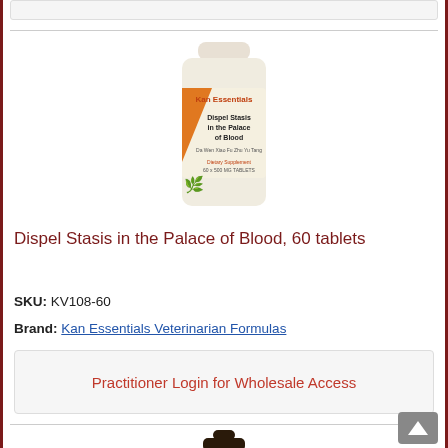[Figure (photo): Product photo of Kan Essentials supplement bottle labeled 'Dispel Stasis in the Palace of Blood', 60 x 500 mg tablets, dietary supplement]
Dispel Stasis in the Palace of Blood, 60 tablets
SKU: KV108-60
Brand: Kan Essentials Veterinarian Formulas
Practitioner Login for Wholesale Access
[Figure (photo): Partial view of a dark glass bottle product at the bottom of the page]